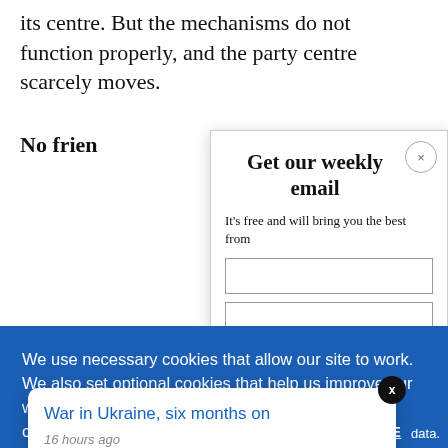its centre. But the mechanisms do not function properly, and the party centre scarcely moves.
No frien
Get our weekly email
It's free and will bring you the best from
We use necessary cookies that allow our site to work. We also set optional cookies that help us improve our website. For more information about the types of cookies we use. READ OUR COOKIES POLICY HERE
COOKIE
ALLOW
War in Ukraine, six months on
16 hours ago
data.
Better To